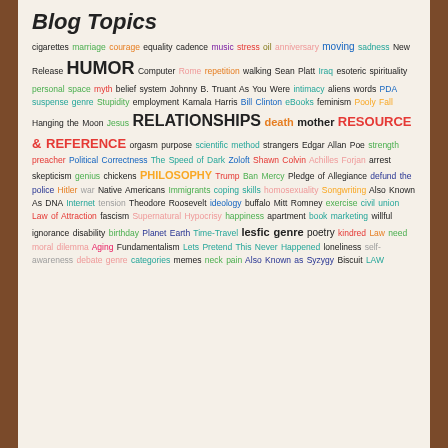Blog Topics
[Figure (infographic): Word cloud of blog topics in various colors and sizes on a cream background with brown borders]